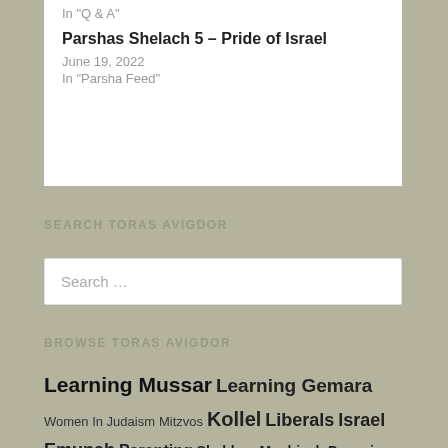In "Q & A"
Parshas Shelach 5 – Pride of Israel
June 19, 2022
In "Parsha Feed"
SEARCH TORAS AVIGDOR
Search …
BROWSE TORAS AVIGDOR
Learning Mussar Learning Gemara Women In Judaism Mitzvos Kollel Liberals Israel Emunah Parenting Shabbos Moshiach Davening Thanking Hashem Avraham Avinu Holocaust Fellow Jews: Loving Them